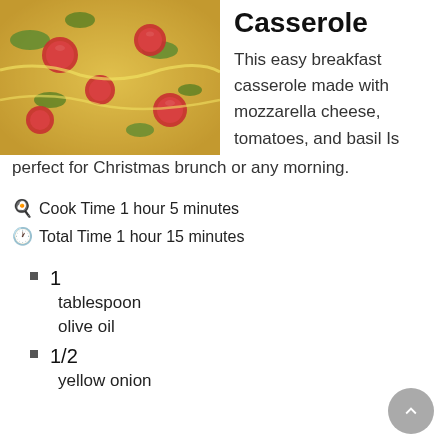[Figure (photo): Close-up photo of a breakfast casserole with tomatoes, mozzarella cheese, and basil in a baking dish]
Casserole
This easy breakfast casserole made with mozzarella cheese, tomatoes, and basil Is perfect for Christmas brunch or any morning.
Cook Time 1 hour 5 minutes
Total Time 1 hour 15 minutes
1
tablespoon
olive oil
1/2
yellow onion